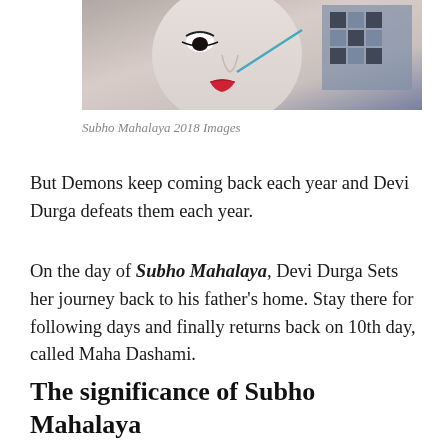[Figure (photo): Cropped photo of a deity idol (Devi Durga) with white face paint and red lips, with a decorative pattern visible in the background.]
Subho Mahalaya 2018 Images
But Demons keep coming back each year and Devi Durga defeats them each year.
On the day of Subho Mahalaya, Devi Durga Sets her journey back to his father’s home. Stay there for following days and finally returns back on 10th day, called Maha Dashami.
The significance of Subho Mahalaya